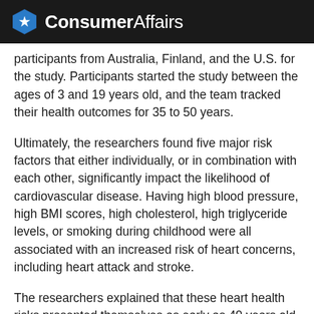ConsumerAffairs
participants from Australia, Finland, and the U.S. for the study. Participants started the study between the ages of 3 and 19 years old, and the team tracked their health outcomes for 35 to 50 years.
Ultimately, the researchers found five major risk factors that either individually, or in combination with each other, significantly impact the likelihood of cardiovascular disease. Having high blood pressure, high BMI scores, high cholesterol, high triglyceride levels, or smoking during childhood were all associated with an increased risk of heart concerns, including heart attack and stroke.
The researchers explained that these heart health risks presented themselves as early as 40 years old. With this information, the team hopes more work will be done to prevent these risk factors and more...